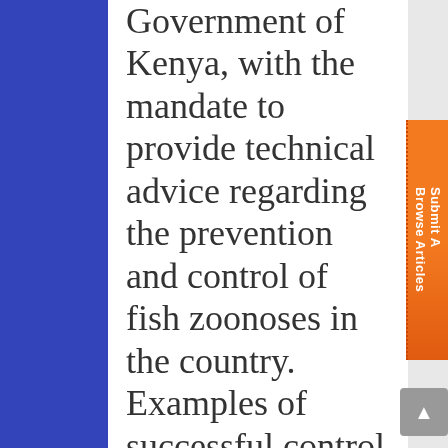Government of Kenya, with the mandate to provide technical advice regarding the prevention and control of fish zoonoses in the country. Examples of successful control programs, utilizing currently available tools, were given for fish-borne